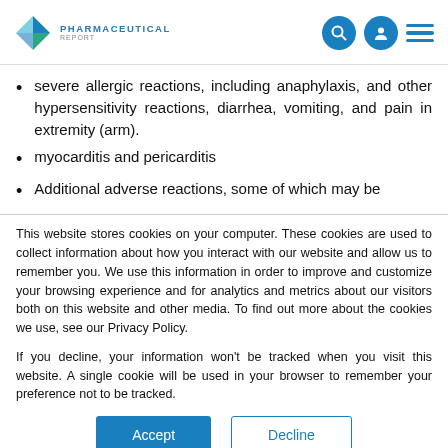Pharmaceutical Report
severe allergic reactions, including anaphylaxis, and other hypersensitivity reactions, diarrhea, vomiting, and pain in extremity (arm).
myocarditis and pericarditis
Additional adverse reactions, some of which may be
This website stores cookies on your computer. These cookies are used to collect information about how you interact with our website and allow us to remember you. We use this information in order to improve and customize your browsing experience and for analytics and metrics about our visitors both on this website and other media. To find out more about the cookies we use, see our Privacy Policy.
If you decline, your information won't be tracked when you visit this website. A single cookie will be used in your browser to remember your preference not to be tracked.